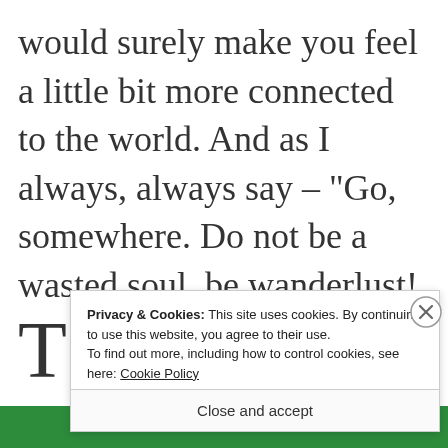would surely make you feel a little bit more connected to the world. And as I always, always say – “Go, somewhere. Do not be a wasted soul, be wanderlust!
T ... d
Privacy & Cookies: This site uses cookies. By continuing to use this website, you agree to their use. To find out more, including how to control cookies, see here: Cookie Policy
Close and accept